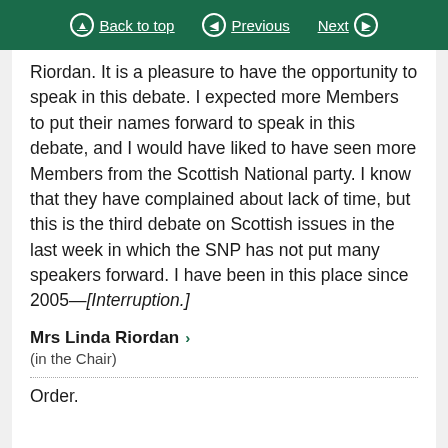Back to top | Previous | Next
Riordan. It is a pleasure to have the opportunity to speak in this debate. I expected more Members to put their names forward to speak in this debate, and I would have liked to have seen more Members from the Scottish National party. I know that they have complained about lack of time, but this is the third debate on Scottish issues in the last week in which the SNP has not put many speakers forward. I have been in this place since 2005—[Interruption.]
Mrs Linda Riordan
(in the Chair)
Order.